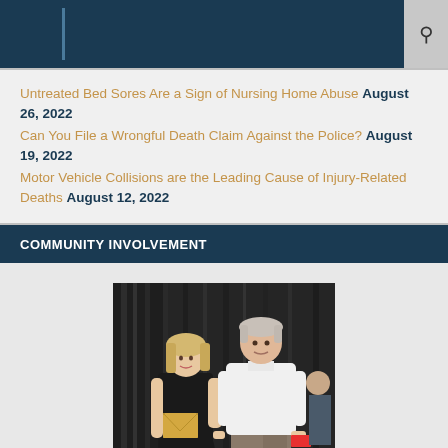Untreated Bed Sores Are a Sign of Nursing Home Abuse August 26, 2022
Can You File a Wrongful Death Claim Against the Police? August 19, 2022
Motor Vehicle Collisions are the Leading Cause of Injury-Related Deaths August 12, 2022
COMMUNITY INVOLVEMENT
[Figure (photo): Two people posing for a photo — a young woman in a black dress holding a yellow envelope and a taller older man in a white sweater, standing in front of dark curtains.]